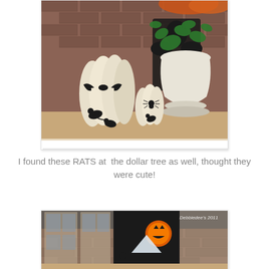[Figure (photo): Photo of white pumpkins decorated with black bat and spider silhouettes on a mantel with a white decorative urn and green ivy, brick wall background. Photo has a white border/frame.]
I found these RATS at  the dollar tree as well, thought they were cute!
[Figure (photo): Photo of a house entrance/porch area at night or dusk, showing French doors with a lit jack-o-lantern visible, and Halloween decorations. Watermark reads 'Debbiedee's 2011'.]